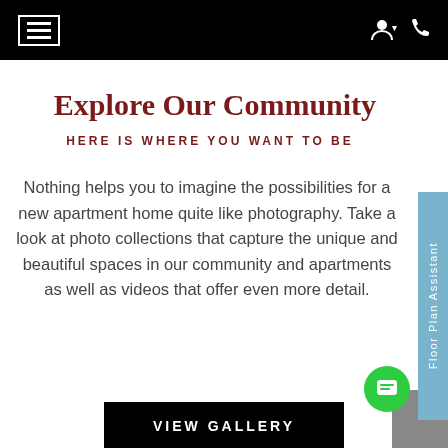Navigation header with menu icon, user icon, and phone icon
Explore Our Community
HERE IS WHERE YOU WANT TO BE
Nothing helps you to imagine the possibilities for a new apartment home quite like photography. Take a look at photo collections that capture the unique and beautiful spaces in our community and apartments as well as videos that offer even more detail.
Floor Plan Assistant
VIEW GALLERY